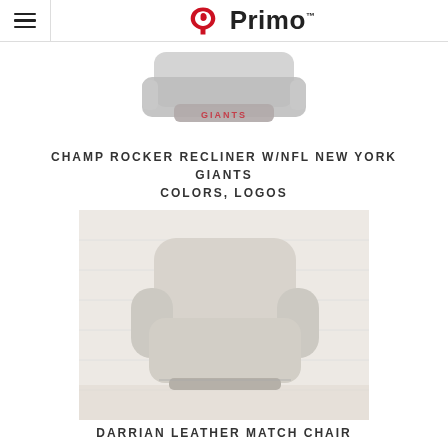Primo
[Figure (photo): Champ Rocker Recliner with NFL New York Giants colors and logos — gray recliner chair with Giants branding, shown from front angle]
CHAMP ROCKER RECLINER W/NFL NEW YORK GIANTS COLORS, LOGOS
[Figure (photo): Darrian Leather Match Chair — cream/beige colored modern accent chair with rounded arms, shown from front on light background]
DARRIAN LEATHER MATCH CHAIR